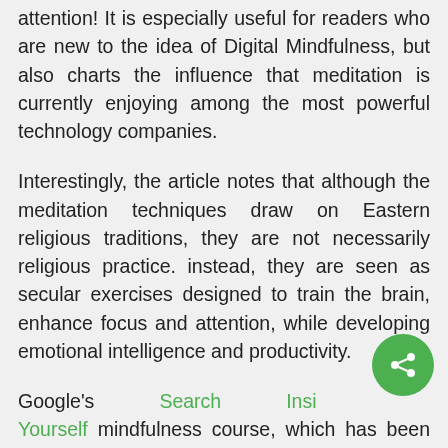attention! It is especially useful for readers who are new to the idea of Digital Mindfulness, but also charts the influence that meditation is currently enjoying among the most powerful technology companies.
Interestingly, the article notes that although the meditation techniques draw on Eastern religious traditions, they are not necessarily religious practice. instead, they are seen as secular exercises designed to train the brain, enhance focus and attention, while developing emotional intelligence and productivity.
Google's Search Inside Yourself mindfulness course, which has been completed by more than a thousand